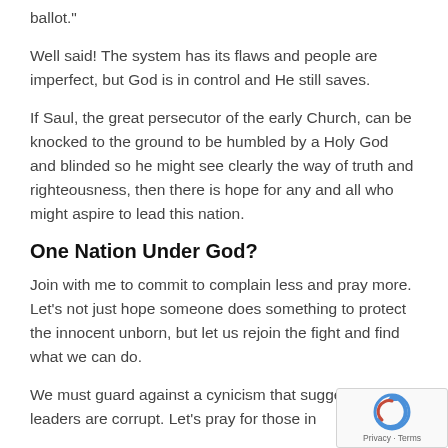ballot."
Well said! The system has its flaws and people are imperfect, but God is in control and He still saves.
If Saul, the great persecutor of the early Church, can be knocked to the ground to be humbled by a Holy God and blinded so he might see clearly the way of truth and righteousness, then there is hope for any and all who might aspire to lead this nation.
One Nation Under God?
Join with me to commit to complain less and pray more. Let’s not just hope someone does something to protect the innocent unborn, but let us rejoin the fight and find what we can do.
We must guard against a cynicism that suggests our leaders are corrupt. Let’s pray for those in